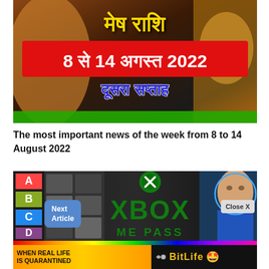[Figure (photo): Hindi news thumbnail image with text '8 से 14 अगस्त 2022' on red banner and 'दूसरा सप्ताह' in blue, with golden Hindi text at top and decorative background]
The most important news of the week from 8 to 14 August 2022
[Figure (screenshot): Xbox Game Pass promotional image with green Xbox logo, XBOX text, and ME PASS text, tier list on left, person on right. Overlay buttons: 'Next Article' and 'Close X'. Bottom ad bar showing 'WHEN REAL LIFE IS QUARANTINED' and 'BitLife' with emoji.]
Xbox S